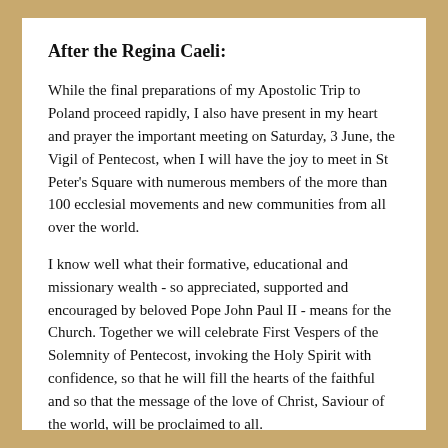After the Regina Caeli:
While the final preparations of my Apostolic Trip to Poland proceed rapidly, I also have present in my heart and prayer the important meeting on Saturday, 3 June, the Vigil of Pentecost, when I will have the joy to meet in St Peter's Square with numerous members of the more than 100 ecclesial movements and new communities from all over the world.
I know well what their formative, educational and missionary wealth - so appreciated, supported and encouraged by beloved Pope John Paul II - means for the Church. Together we will celebrate First Vespers of the Solemnity of Pentecost, invoking the Holy Spirit with confidence, so that he will fill the hearts of the faithful and so that the message of the love of Christ, Saviour of the world, will be proclaimed to all.
On the occasion of the "Day of Relief" that will be